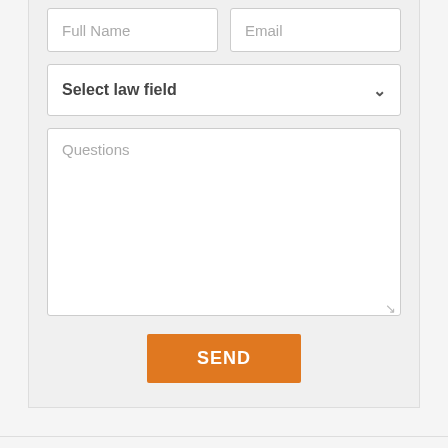[Figure (screenshot): Web contact form with Full Name and Email input fields, a Select law field dropdown, a Questions textarea, and a SEND button]
VIETNAM TOP LAW FIRM
Address: Charmvit Tower, No 117 Tran Duy Hung St, Trung